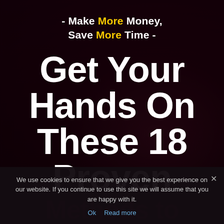- Make More Money, Save More Time -
Get Your Hands On These 18 Proven
Methods to Making Fast
We use cookies to ensure that we give you the best experience on our website. If you continue to use this site we will assume that you are happy with it.